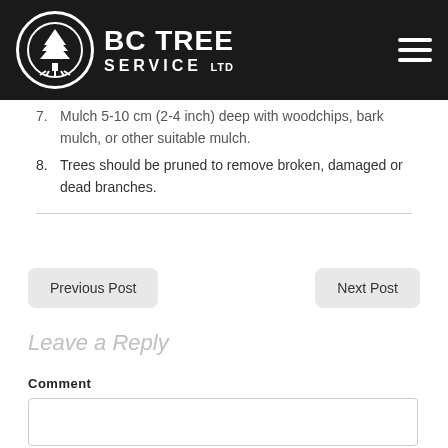BC TREE SERVICE LTD
7. Mulch 5-10 cm (2-4 inch) deep with woodchips, bark mulch, or other suitable mulch.
8. Trees should be pruned to remove broken, damaged or dead branches.
Previous Post
Next Post
Leave a Reply
Comment